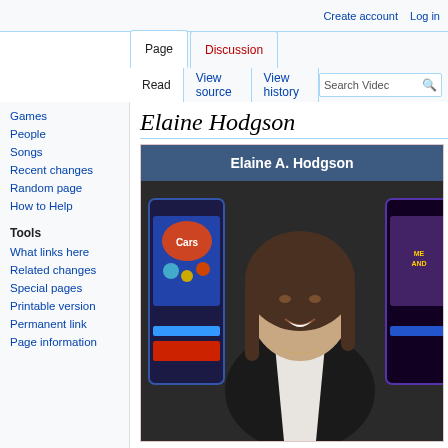Create account  Log in
Page  Discussion  Read  View source  View history  Search Videos
Elaine Hodgson
Elaine A. Hodgson
[Figure (photo): Photograph of Elaine A. Hodgson, a woman with shoulder-length brown hair wearing a black blazer and white shirt, smiling, with slot machines visible in the background.]
Games
People
Songs
Recent changes
Random page
How to Help
Tools
What links here
Related changes
Special pages
Printable version
Permanent link
Page information